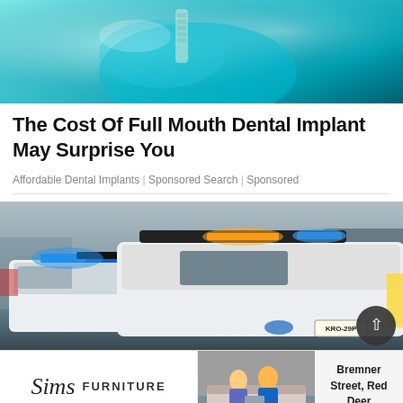[Figure (photo): Close-up photo of a teal/turquoise dental implant or dental device with metallic screw components on a light blue background]
The Cost Of Full Mouth Dental Implant May Surprise You
Affordable Dental Implants | Sponsored Search | Sponsored
[Figure (photo): Photo of two white police SUV vehicles with emergency lights (blue and amber) activated, showing license plate KRO-29P]
[Figure (advertisement): Sims Furniture advertisement banner showing the Sims Furniture logo, a couple sitting on a sofa, and text 'Bremner Street, Red Deer']